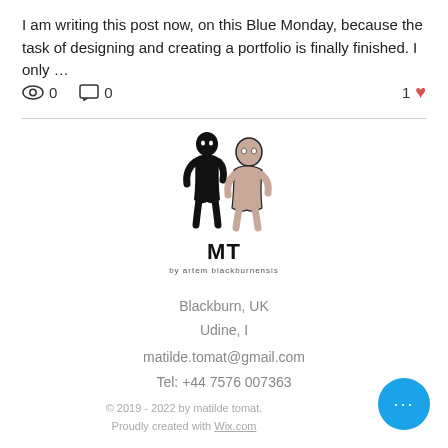I am writing this post now, on this Blue Monday, because the task of designing and creating a portfolio is finally finished. I only …
0  0  1
[Figure (logo): MT logo with two stylized figures (one black, one beige/tan) standing side by side, with text 'MT by artem blackburnensis' beneath]
Blackburn, UK
Udine, I
matilde.tomat@gmail.com
Tel: +44 7576 007363
© 2019 - 2022 by matilde tomat. Proudly created with Wix.com